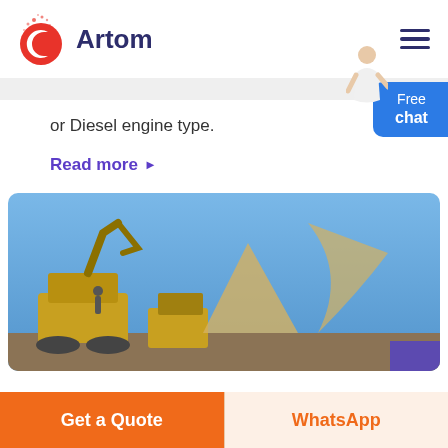[Figure (logo): Artom logo with red circular C icon and dark blue text 'Artom']
or Diesel engine type.
Read more ▶
[Figure (photo): Outdoor industrial scene with heavy construction machinery and excavators against a clear blue sky]
Get a Quote
WhatsApp